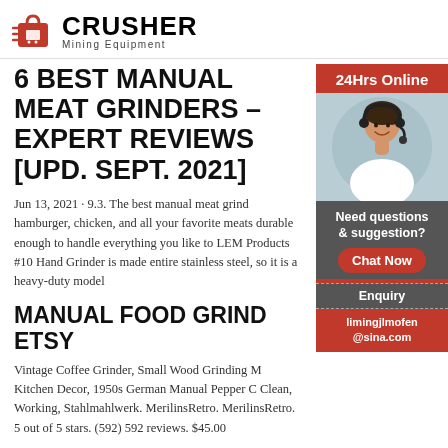CRUSHER Mining Equipment
6 BEST MANUAL MEAT GRINDERS – EXPERT REVIEWS [UPD. SEPT. 2021]
Jun 13, 2021 · 9.3. The best manual meat grinder can grind hamburger, chicken, and all your favorite meats. It should be durable enough to handle everything you like to cook. The LEM Products #10 Hand Grinder is made entirely of stainless steel, so it is a heavy-duty model
MANUAL FOOD GRINDERS – ETSY
Vintage Coffee Grinder, Small Wood Grinding Machine, Kitchen Decor, 1950s German Manual Pepper Grinder, Clean, Working, Stahlmahlwerk. MerilinsRetro. MerilinsRetro. 5 out of 5 stars. (592) 592 reviews. $45.00
[Figure (photo): Customer service representative with headset, 24Hrs Online chat widget with 'Chat Now' button, Enquiry section, and email limingjlmofen@sina.com]